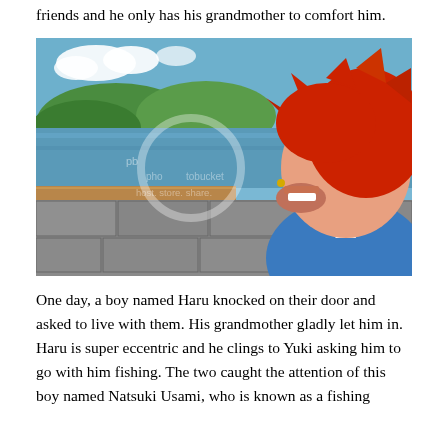friends and he only has his grandmother to comfort him.
[Figure (illustration): Anime screenshot showing a red-haired male character from profile view, mouth open as if speaking or yelling, wearing a blue outfit. Background shows water, green hills, blue sky with clouds, and a stone wall with wooden slats. Photobucket watermark visible.]
One day, a boy named Haru knocked on their door and asked to live with them. His grandmother gladly let him in. Haru is super eccentric and he clings to Yuki asking him to go with him fishing. The two caught the attention of this boy named Natsuki Usami, who is known as a fishing